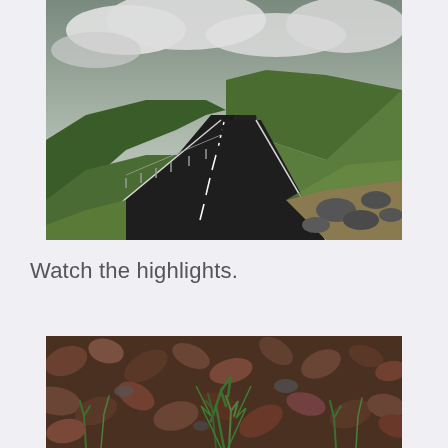[Figure (photo): A scenic road through a green mountain valley under cloudy skies. The road stretches into the distance between steep green hillsides, with rocks and grass on the right side and a fence on the left.]
Watch the highlights.
[Figure (photo): Close-up ground-level photo of autumn leaves, small green plants, and grass on rocky forest floor.]